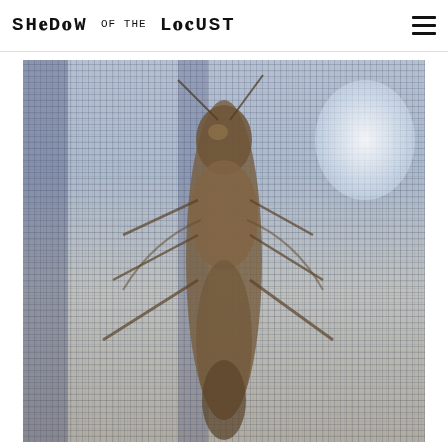SHADOW of the LOCUST
[Figure (photo): Close-up photograph of a locust (grasshopper-like insect) clinging to a wire mesh or screen, with light filtering through from behind. The insect is brown/tan in color, viewed from above, with antennae visible. The mesh creates a grid pattern background.]